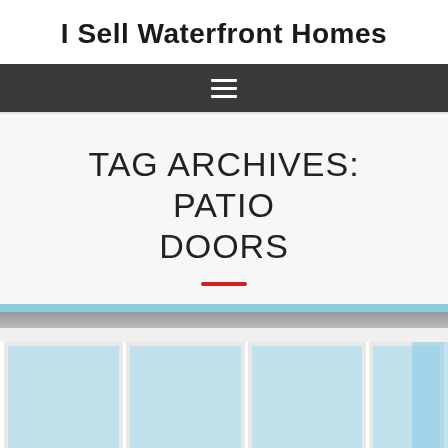I Sell Waterfront Homes
TAG ARCHIVES: PATIO DOORS
[Figure (photo): Exterior photo of a modern home with large white-framed sliding patio doors, showing green landscape and blue sky in the background]